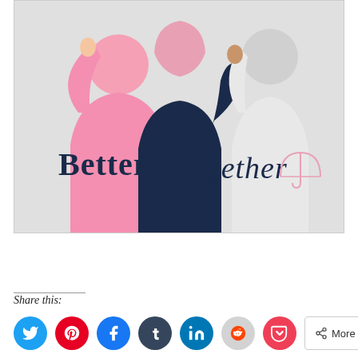[Figure (illustration): Illustration of three figures seen from behind with arms around each other. Left figure in pink top, center figure in dark navy with pink hijab/headscarf, right figure in white/light gray outfit. Light gray background. Text reads 'Better Together' with a small pink umbrella icon in the lower right. 'Better' is in bold dark navy serif font, 'Together' in dark navy cursive/script font.]
Share this:
[Figure (other): Row of social media share icon buttons: Twitter (blue bird), Pinterest (red P), Facebook (blue f), Tumblr (dark blue t), LinkedIn (blue in), Reddit (light gray alien), Pocket (red), and a More button with share icon.]